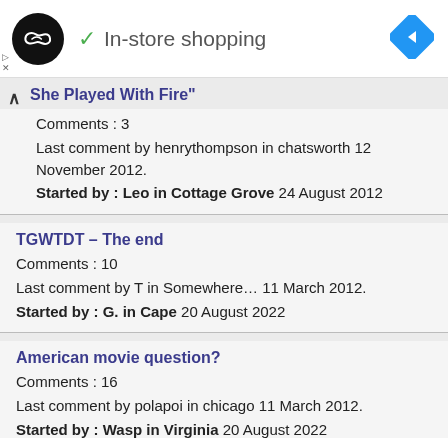[Figure (logo): Black circle logo with double arrow symbol, checkmark and 'In-store shopping' text, blue diamond navigation icon]
She Played With Fire"
Comments : 3
Last comment by henrythompson in chatsworth 12 November 2012.
Started by : Leo in Cottage Grove 24 August 2012
TGWTDT – The end
Comments : 10
Last comment by T in Somewhere… 11 March 2012.
Started by : G. in Cape 20 August 2022
American movie question?
Comments : 16
Last comment by polapoi in chicago 11 March 2012.
Started by : Wasp in Virginia 20 August 2022
What church?
Comments : 3
Last comment by Xavier Dolan in Hamilton ON 01 March